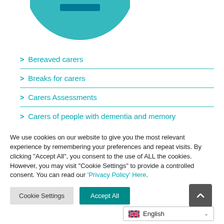[Figure (illustration): Partial teal circle graphic visible at top of page]
Bereaved carers
Breaks for carers
Carers Assessments
Carers of people with dementia and memory
We use cookies on our website to give you the most relevant experience by remembering your preferences and repeat visits. By clicking "Accept All", you consent to the use of ALL the cookies. However, you may visit "Cookie Settings" to provide a controlled consent. You can read our 'Privacy Policy' Here.
Cookie Settings | Accept All